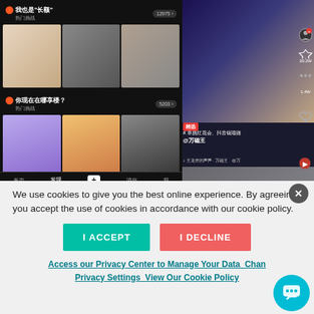[Figure (screenshot): Screenshot of TikTok (Douyin) app showing hashtag challenge feeds on the left panel with thumbnail grids, and a live-streaming person on the right panel with interaction icons. Bottom navigation bar shows 首页, 发现, +, 消息, 我.]
We use cookies to give you the best online experience. By agreeing you accept the use of cookies in accordance with our cookie policy.
[Figure (infographic): I ACCEPT button (teal) and I DECLINE button (red/salmon) for cookie consent]
Access our Privacy Center to Manage Your Data   Change Privacy Settings   View Our Cookie Policy